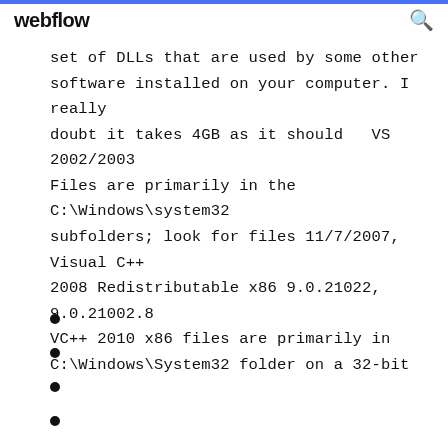webflow
set of DLLs that are used by some other software installed on your computer. I really doubt it takes 4GB as it should   VS 2002/2003 Files are primarily in the C:\Windows\system32 subfolders; look for files 11/7/2007, Visual C++ 2008 Redistributable x86 9.0.21022, 9.0.21002.8 VC++ 2010 x86 files are primarily in C:\Windows\System32 folder on a 32-bit